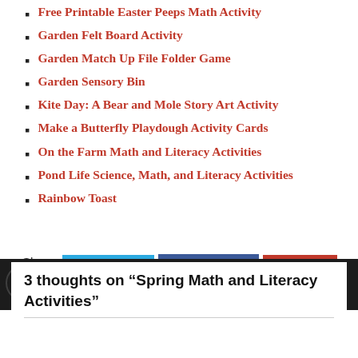Free Printable Easter Peeps Math Activity
Garden Felt Board Activity
Garden Match Up File Folder Game
Garden Sensory Bin
Kite Day: A Bear and Mole Story Art Activity
Make a Butterfly Playdough Activity Cards
On the Farm Math and Literacy Activities
Pond Life Science, Math, and Literacy Activities
Rainbow Toast
Share this! TWITTER FACEBOOK SAVE
3 thoughts on “Spring Math and Literacy Activities”